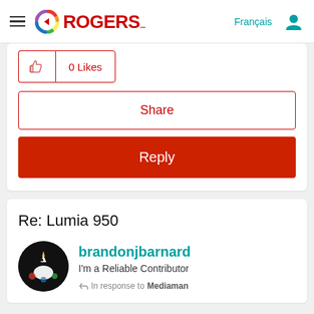Rogers — Français
0 Likes
Share
Reply
Re: Lumia 950
brandonjbarnard
I'm a Reliable Contributor
In response to Mediaman